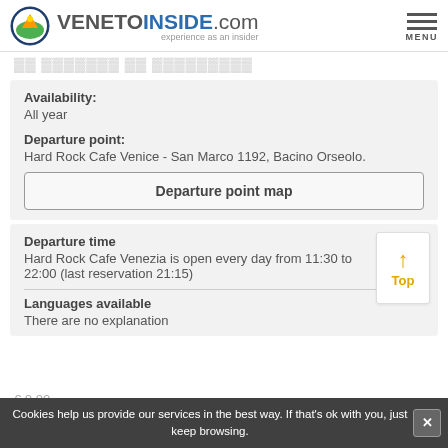VENETOINSIDE.com experience as an insider
Availability:
All year
Departure point:
Hard Rock Cafe Venice - San Marco 1192, Bacino Orseolo.
Departure point map
Departure time
Hard Rock Cafe Venezia is open every day from 11:30 to 22:00 (last reservation 21:15)
Languages available
There are no explanation
Cookies help us provide our services in the best way. If that's ok with you, just keep browsing.